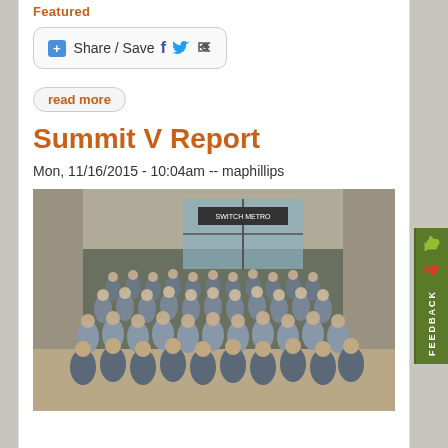Featured
[Figure (screenshot): Share / Save button with social media icons (Facebook, Twitter, share arrow)]
read more
Summit V Report
Mon, 11/16/2015 - 10:04am -- maphillips
[Figure (photo): Large group photo of conference attendees in a building lobby/atrium, taken from an elevated angle showing approximately 100+ people standing together]